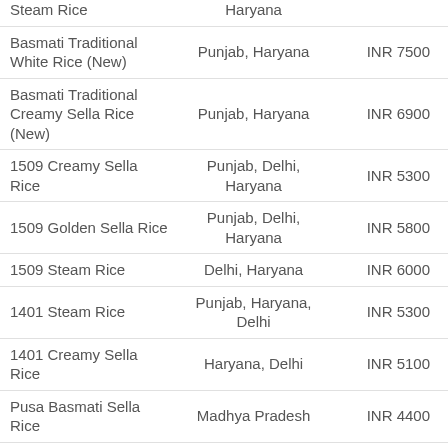| Product | Location | Price |
| --- | --- | --- |
| Steam Rice | Haryana |  |
| Basmati Traditional White Rice (New) | Punjab, Haryana | INR 7500 |
| Basmati Traditional Creamy Sella Rice (New) | Punjab, Haryana | INR 6900 |
| 1509 Creamy Sella Rice | Punjab, Delhi, Haryana | INR 5300 |
| 1509 Golden Sella Rice | Punjab, Delhi, Haryana | INR 5800 |
| 1509 Steam Rice | Delhi, Haryana | INR 6000 |
| 1401 Steam Rice | Punjab, Haryana, Delhi | INR 5300 |
| 1401 Creamy Sella Rice | Haryana, Delhi | INR 5100 |
| Pusa Basmati Sella Rice | Madhya Pradesh | INR 4400 |